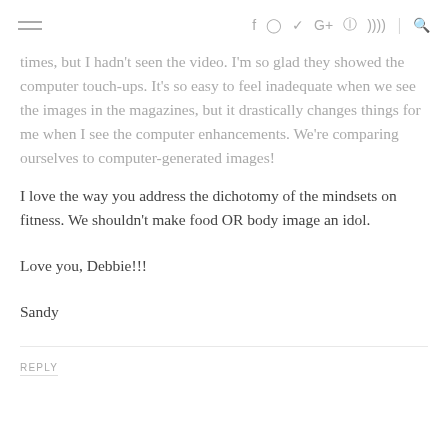≡  f  ⊙  𝕥  G+  ℗  )))  |  🔍
times, but I hadn't seen the video. I'm so glad they showed the computer touch-ups. It's so easy to feel inadequate when we see the images in the magazines, but it drastically changes things for me when I see the computer enhancements. We're comparing ourselves to computer-generated images!
I love the way you address the dichotomy of the mindsets on fitness. We shouldn't make food OR body image an idol.
Love you, Debbie!!!
Sandy
REPLY